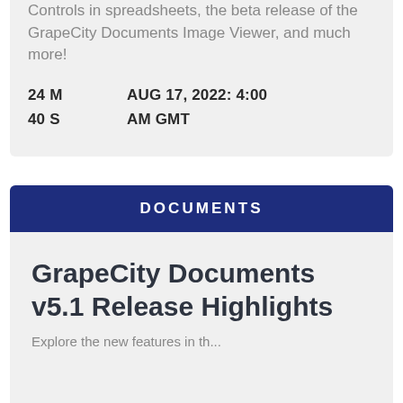Controls in spreadsheets, the beta release of the GrapeCity Documents Image Viewer, and much more!
24 M   AUG 17, 2022: 4:00
40 S   AM GMT
DOCUMENTS
GrapeCity Documents v5.1 Release Highlights
Explore the new features in the...